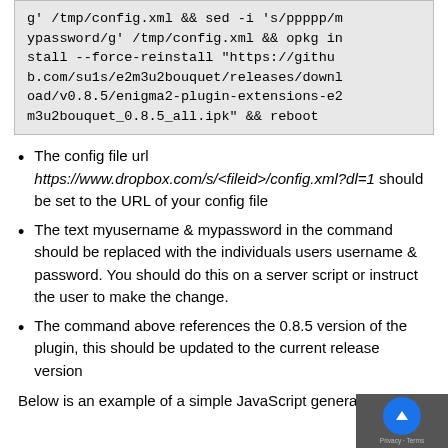g' /tmp/config.xml && sed -i 's/ppppp/mypassword/g' /tmp/config.xml && opkg install --force-reinstall "https://github.com/su1s/e2m3u2bouquet/releases/download/v0.8.5/enigma2-plugin-extensions-e2m3u2bouquet_0.8.5_all.ipk" && reboot
The config file url https://www.dropbox.com/s/<fileid>/config.xml?dl=1 should be set to the URL of your config file
The text myusername & mypassword in the command should be replaced with the individuals users username & password. You should do this on a server script or instruct the user to make the change.
The command above references the 0.8.5 version of the plugin, this should be updated to the current release version
Below is an example of a simple JavaScript generate...